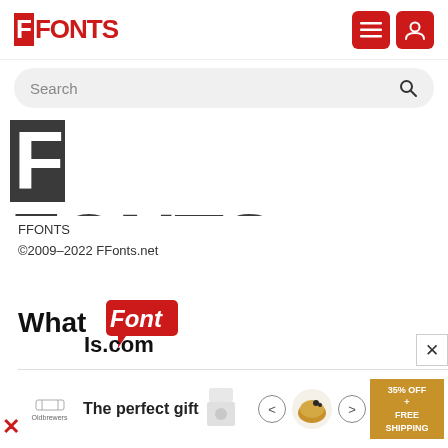FFONTS
Search
[Figure (logo): Large FFONTS logo text in dark gray/black bold condensed font, partially cropped]
FFONTS
©2009–2022 FFonts.net
[Figure (logo): WhatFontIs.com logo with red speech bubble background for Font word]
[Figure (logo): Instagram camera icon with gradient pink-orange background]
[Figure (other): Advertisement banner: The perfect gift with food imagery and 35% OFF + FREE SHIPPING offer]